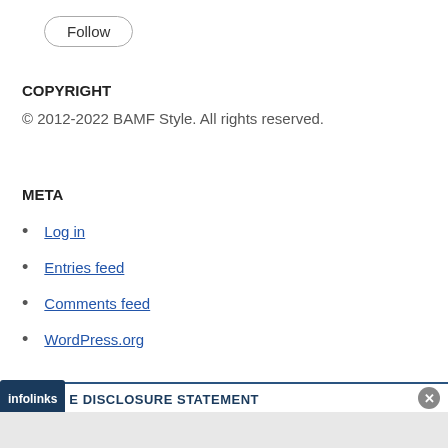[Figure (other): Follow button with rounded border]
COPYRIGHT
© 2012-2022 BAMF Style. All rights reserved.
META
Log in
Entries feed
Comments feed
WordPress.org
[Figure (other): Infolinks bar with disclosure statement text and close button]